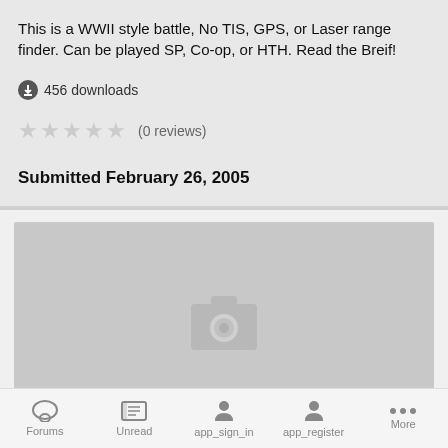This is a WWII style battle, No TIS, GPS, or Laser range finder. Can be played SP, Co-op, or HTH. Read the Breif!
456 downloads
(0 reviews)
Submitted February 26, 2005
[Figure (photo): Placeholder image with camera icon for 'perfected battlefield 1995']
perfected battlefield 1995
By BattleCarrySabot
Forums   Unread   app_sign_in   app_register   More